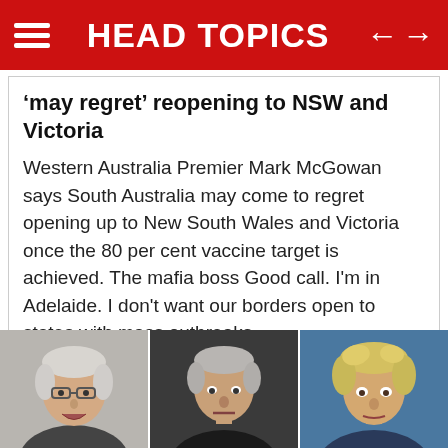HEAD TOPICS
‘may regret’ reopening to NSW and Victoria
Western Australia Premier Mark McGowan says South Australia may come to regret opening up to New South Wales and Victoria once the 80 per cent vaccine target is achieved. The mafia boss Good call. I’m in Adelaide. I don’t want our borders open to states with mass outbreaks.
[Figure (photo): Three photos of political figures at the bottom of the page: a man with gray hair and glasses on the left, a man with gray hair in the center, and a blond-haired man on the right.]